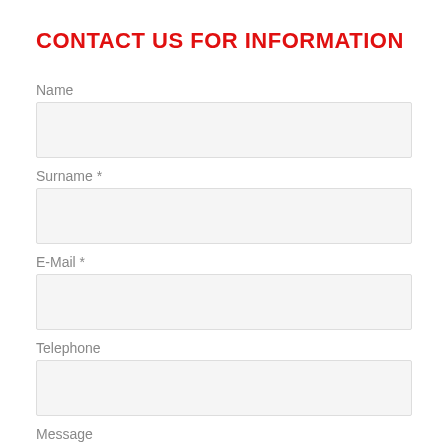CONTACT US FOR INFORMATION
Name
[Figure (other): Empty input field for Name]
Surname *
[Figure (other): Empty input field for Surname]
E-Mail *
[Figure (other): Empty input field for E-Mail]
Telephone
[Figure (other): Empty input field for Telephone]
Message